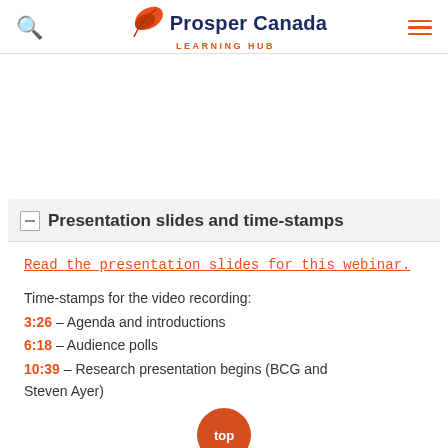Prosper Canada LEARNING HUB
Presentation slides and time-stamps
Read the presentation slides for this webinar.
Time-stamps for the video recording:
3:26 – Agenda and introductions
6:18 – Audience polls
10:39 – Research presentation begins (BCG and Steven Ayer)